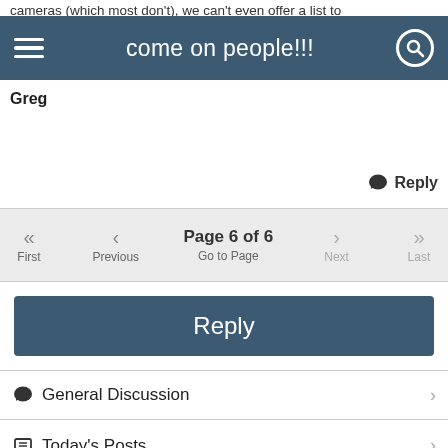cameras (which most don't), we can't even offer a list to choose from.
come on people!!!
Greg
Reply
Page 6 of 6   First  Previous  Go to Page  Next  Last
Reply
General Discussion
Today's Posts